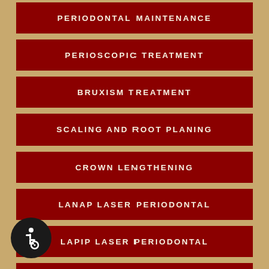PERIODONTAL MAINTENANCE
PERIOSCOPIC TREATMENT
BRUXISM TREATMENT
SCALING AND ROOT PLANING
CROWN LENGTHENING
LANAP LASER PERIODONTAL
LAPIP LASER PERIODONTAL
PIEZOSURGERY
[Figure (illustration): Wheelchair accessibility icon — white wheelchair symbol on black circle background]